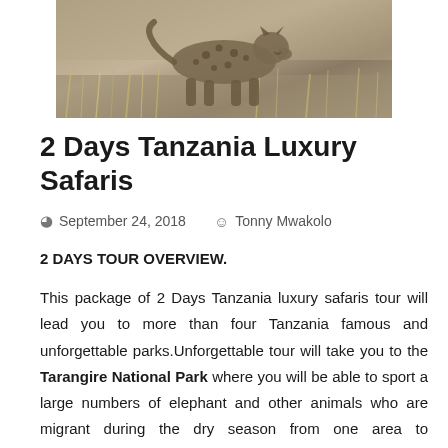[Figure (photo): Sepia-toned photograph of a cheetah crouching in dry grass]
2 Days Tanzania Luxury Safaris
September 24, 2018   Tonny Mwakolo
2 DAYS TOUR OVERVIEW.
This package of 2 Days Tanzania luxury safaris tour will lead you to more than four Tanzania famous and unforgettable parks.Unforgettable tour will take you to the Tarangire National Park where you will be able to sport a large numbers of elephant and other animals who are migrant during the dry season from one area to another.Finally this tour will take you to the Ngorongoro Crater and the Ngorongoro Conservation